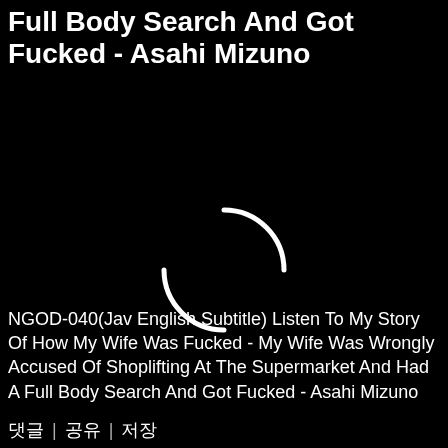Full Body Search And Got Fucked - Asahi Mizuno
[Figure (other): Black video player area with a loading spinner (circular arc) in the center, indicating buffering state.]
NGOD-040(Jav English Subtitle) Listen To My Story Of How My Wife Was Fucked - My Wife Was Wrongly Accused Of Shoplifting At The Supermarket And Had A Full Body Search And Got Fucked - Asahi Mizuno
댓글  |  공유  |  저장